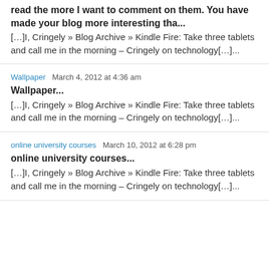read the more I want to comment on them. You have made your blog more interesting tha...
[…]I, Cringely » Blog Archive » Kindle Fire: Take three tablets and call me in the morning – Cringely on technology[…]...
Wallpaper   March 4, 2012 at 4:36 am
Wallpaper...
[…]I, Cringely » Blog Archive » Kindle Fire: Take three tablets and call me in the morning – Cringely on technology[…]...
online university courses   March 10, 2012 at 6:28 pm
online university courses...
[…]I, Cringely » Blog Archive » Kindle Fire: Take three tablets and call me in the morning – Cringely on technology[…]...